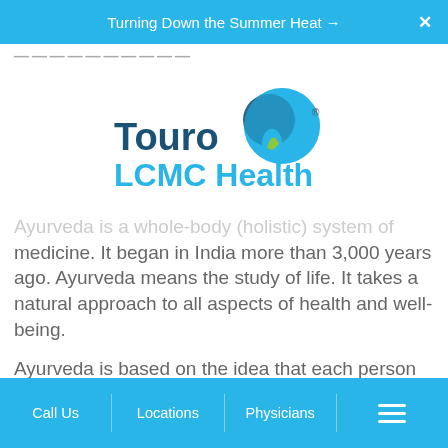Turning Down the Summer Heat →
[Figure (logo): Touro LCMC Health logo with teal/dark teal heart shape and green leaf accent]
Ayurveda is a whole-body (holistic) system of medicine. It began in India more than 3,000 years ago. Ayurveda means the study of life. It takes a natural approach to all aspects of health and well-being.
Ayurveda is based on the idea that each person has certain life forces (doshas) and
Call Us   Locations   Physicians   ☰